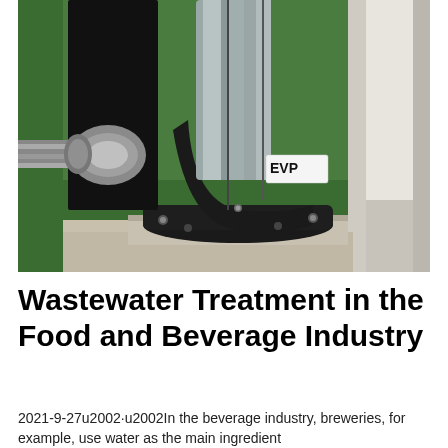[Figure (photo): Close-up photograph of industrial pump or motor equipment. Shows a black cast iron base/elbow fitting with bolts, connected to stainless steel cylindrical components, with a white label reading 'EVP' visible. Background shows green turf and a white frame structure.]
Wastewater Treatment in the Food and Beverage Industry
2021-9-27u2002·u2002In the beverage industry, breweries, for example, use water as the main ingredient